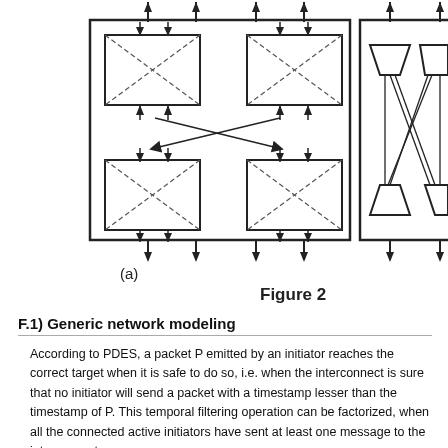[Figure (engineering-diagram): Two network interconnect diagrams side by side. Left diagram (a) shows a 2x2 grid of four crossbar switch modules inside a large rectangle, connected by crossing arrows indicating packet routing paths between modules. Dashed arrows cross inside each module box. Right diagram (partially visible) shows trapezoid-shaped nodes connected by crossing lines in a similar interconnect topology.]
(a)
Figure 2
F.1) Generic network modeling
According to PDES, a packet P emitted by an initiator reaches the correct target when it is safe to do so, i.e. when the interconnect is sure that no initiator will send a packet with a timestamp lesser than the timestamp of P. This temporal filtering operation can be factorized, when all the connected active initiators have sent at least one message to the interconnect.